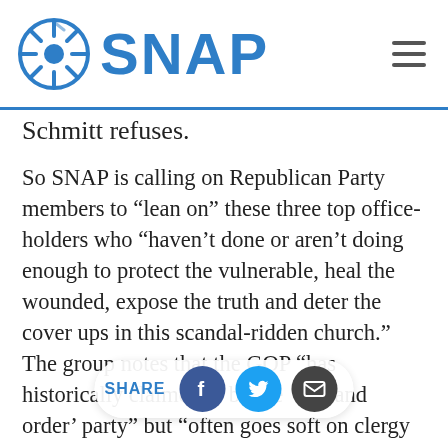SNAP
Schmitt refuses.
So SNAP is calling on Republican Party members to “lean on” these three top office-holders who “haven’t done or aren’t doing enough to protect the vulnerable, heal the wounded, expose the truth and deter the cover ups in this scandal-ridden church.” The group notes that the GOP “has historically claimed to be the ‘law and order’ party” but “often goes soft on clergy who conceal heinous crimes against kids,” SNAP says.
BACKGROUND
Over the past year, 18 attorneys general have launched investigations into bishops and abuse. Just months into the effort in Illinois, the AG there disclosed that clergy y’aced priest’s names remain hidden and successfully pressured bishops